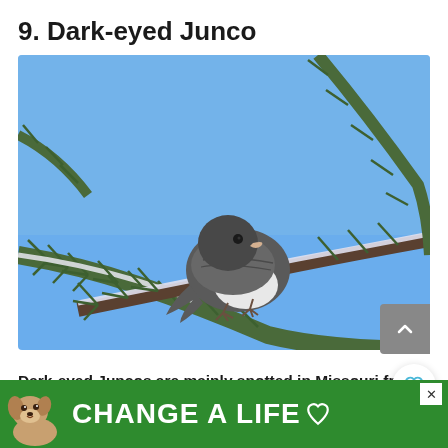9. Dark-eyed Junco
[Figure (photo): Dark-eyed Junco bird perched on a snow-dusted pine/fir branch against a blue sky background. The bird has a dark gray head and back with white belly.]
Dark-eyed Juncos are mainly spotted in Missouri from October to April and occur in 56% of winter checklists submitted by bird
[Figure (infographic): Green advertisement banner reading 'CHANGE A LIFE' with a dog image on the left and a heart symbol on the right. Has an X close button in the top right corner.]